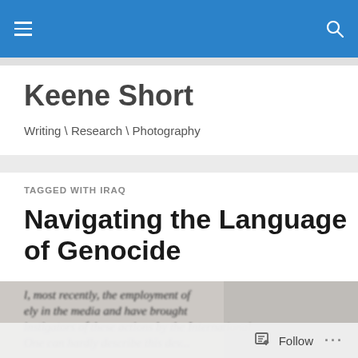Keene Short — site navigation bar
Keene Short
Writing \ Research \ Photography
TAGGED WITH IRAQ
Navigating the Language of Genocide
[Figure (photo): Close-up photograph of printed text on a page, showing italic body text beginning with phrases like 'most recently, the employment of', 'ely in the media and have brought', 'instigators of these actions by the International', 'One can hardly describe this dev...' The image is blurred/shallow depth of field.]
Follow